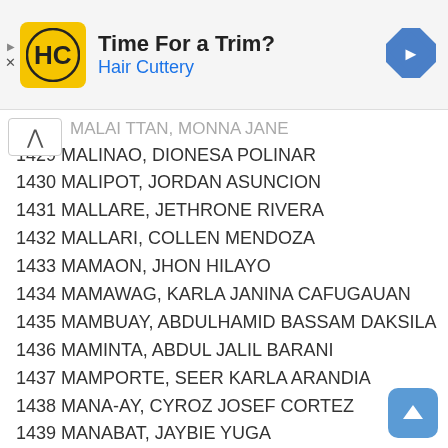[Figure (other): Hair Cuttery advertisement banner with logo, text 'Time For a Trim?' and navigation arrow icon]
MALAI TTAN, MONNA JANE (partial, top)
1429 MALINAO, DIONESA POLINAR
1430 MALIPOT, JORDAN ASUNCION
1431 MALLARE, JETHRONE RIVERA
1432 MALLARI, COLLEN MENDOZA
1433 MAMAON, JHON HILAYO
1434 MAMAWAG, KARLA JANINA CAFUGAUAN
1435 MAMBUAY, ABDULHAMID BASSAM DAKSILA
1436 MAMINTA, ABDUL JALIL BARANI
1437 MAMPORTE, SEER KARLA ARANDIA
1438 MANA-AY, CYROZ JOSEF CORTEZ
1439 MANABAT, JAYBIE YUGA
1440 MANABAT, JOSHUA ERWIN GALVEZ
1441 MANALILI, ARJAY PARUNGAO
1442 MANANSALA, SHARLAINE ARCEGA
1443 MANANTAN, RAY LOUIS MASLOG
1444 MANAOIS, BLESSIE AZUCENA (partial, bottom)